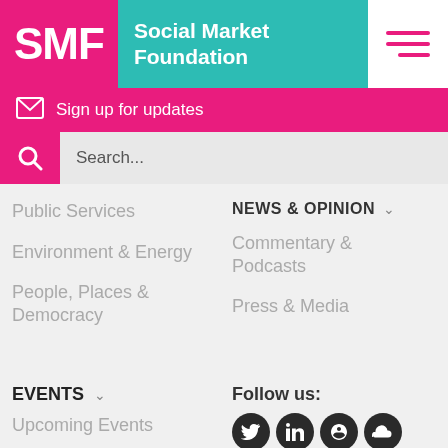[Figure (logo): SMF Social Market Foundation logo with pink SMF block and teal Social Market Foundation text]
Sign up for updates
Search...
Public Services
Environment & Energy
People, Places & Democracy
NEWS & OPINION
Commentary & Podcasts
Press & Media
EVENTS
Upcoming Events
Follow us:
[Figure (infographic): Social media icons: Twitter, LinkedIn, another icon, SoundCloud]
This website uses cookies. Manage Cookie Preferences